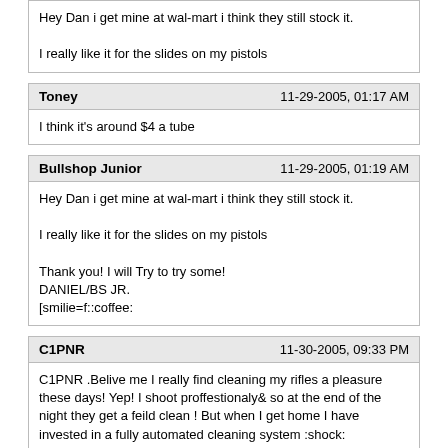Hey Dan i get mine at wal-mart i think they still stock it.

I really like it for the slides on my pistols
Toney — 11-29-2005, 01:17 AM
I think it's around $4 a tube
Bullshop Junior — 11-29-2005, 01:19 AM
Hey Dan i get mine at wal-mart i think they still stock it.

I really like it for the slides on my pistols

Thank you! I will Try to try some!
DANIEL/BS JR.
[smilie=f::coffee:
C1PNR — 11-30-2005, 09:33 PM
C1PNR .Belive me I really find cleaning my rifles a pleasure these days! Yep! I shoot proffestionaly& so at the end of the night they get a feild clean ! But when I get home I have invested in a fully automated cleaning system :shock:
It's called a son with a car who relys on me for his fuel :wink: Yep its made cleaning firearms a real pleasure ! No clean to my standards = no fuel :wink: I can sit & critisize him for hours !

Dave
Well, now I completely understand your comment and agree you are right!

Kids are all grown and gone, BUT I do have a Granddaughter who asks if we can clean a gun just about every time she comes over, so we do! Her Million Mom March Mother isn't too happy about it, but what the heck Sydney and I have fun![smilie=p: